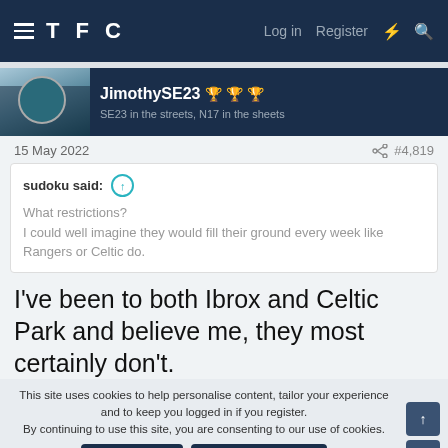TFC  Log in  Register
JimothySE23 🏆🏆🏆 SE23 in the streets, N17 in the sheets
15 May 2022   #4,819
sudoku said: ↑
What restrictions?
I could well imagine they would fill their ground every week like Rangers or Celtic do.
I've been to both Ibrox and Celtic Park and believe me, they most certainly don't.
This site uses cookies to help personalise content, tailor your experience and to keep you logged in if you register.
By continuing to use this site, you are consenting to our use of cookies.
✓ ACCEPT   LEARN MORE...